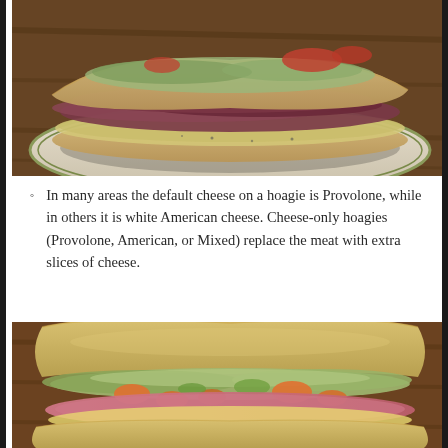[Figure (photo): A hoagie/sub sandwich with roast beef, lettuce, peppers, and provolone cheese on a flatbread roll, served on a white plate with green rim, on a wooden table]
In many areas the default cheese on a hoagie is Provolone, while in others it is white American cheese. Cheese-only hoagies (Provolone, American, or Mixed) replace the meat with extra slices of cheese.
[Figure (photo): A hoagie/sub sandwich with ham, lettuce, sliced cherry peppers/carrots, and cheese on an Italian roll, on a wooden surface]